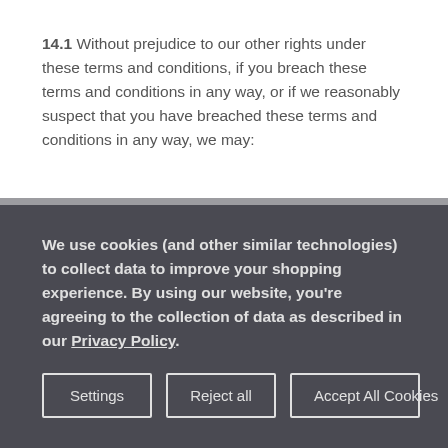14.1 Without prejudice to our other rights under these terms and conditions, if you breach these terms and conditions in any way, or if we reasonably suspect that you have breached these terms and conditions in any way, we may:
We use cookies (and other similar technologies) to collect data to improve your shopping experience. By using our website, you're agreeing to the collection of data as described in our Privacy Policy.